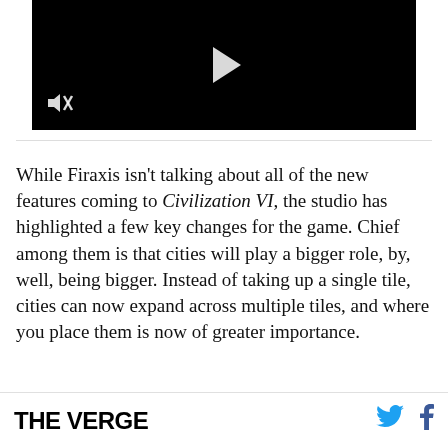[Figure (screenshot): Black video player with white play button in center and mute icon in bottom left corner]
While Firaxis isn't talking about all of the new features coming to Civilization VI, the studio has highlighted a few key changes for the game. Chief among them is that cities will play a bigger role, by, well, being bigger. Instead of taking up a single tile, cities can now expand across multiple tiles, and where you place them is now of greater importance.
THE VERGE